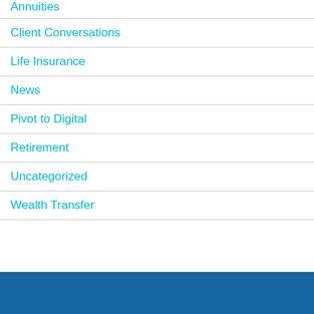Annuities
Client Conversations
Life Insurance
News
Pivot to Digital
Retirement
Uncategorized
Wealth Transfer